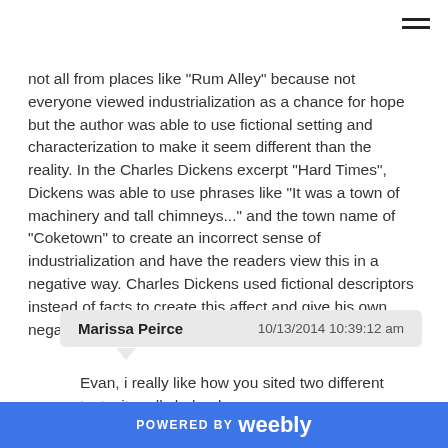not all from places like "Rum Alley" because not everyone viewed industrialization as a chance for hope but the author was able to use fictional setting and characterization to make it seem different than the reality. In the Charles Dickens excerpt "Hard Times", Dickens was able to use phrases like "It was a town of machinery and tall chimneys..." and the town name of "Coketown" to create an incorrect sense of industrialization and have the readers view this in a negative way. Charles Dickens used fictional descriptors instead of facts to create this affect and give his own, negative, perspective on industrialization.
Marissa Peirce    10/13/2014 10:39:12 am
Evan, i really like how you sited two different texts, it really helped
POWERED BY weebly